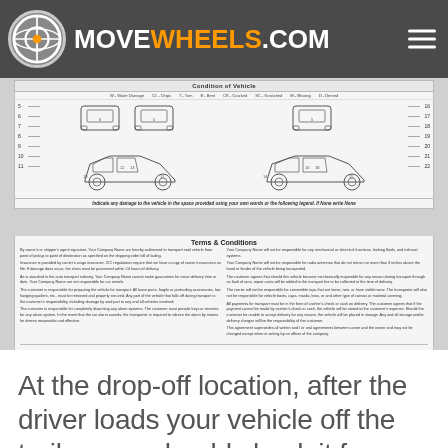[Figure (screenshot): MoveWheels.com logo with navigation hamburger menu on dark gray background]
[Figure (screenshot): Bill of Lading form showing Condition of Vehicle section with car diagrams and numbered damage fields, followed by Terms & Conditions text and signature lines]
At the drop-off location, after the driver loads your vehicle off the trailer, you should check it for any new damages and if any write it down in the BOL. You can